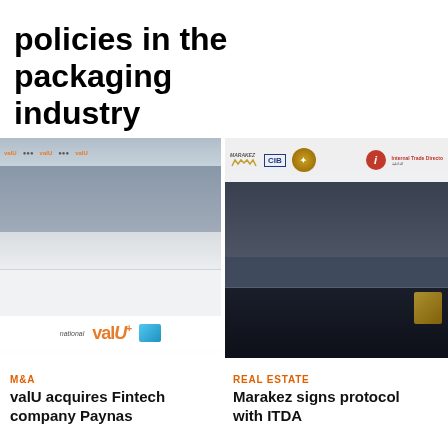policies in the packaging industry
[Figure (photo): Group of business professionals seated and standing at a signing ceremony table with valU branded backdrop; valU logo visible on the backdrop and at the bottom of the image]
[Figure (photo): Group of business professionals standing at a formal signing event with banners showing Marakez, CIB, and ITDA (Internal Trade Directorate) logos in the background]
M&A
valU acquires Fintech company Paynas
REAL ESTATE
Marakez signs protocol with ITDA